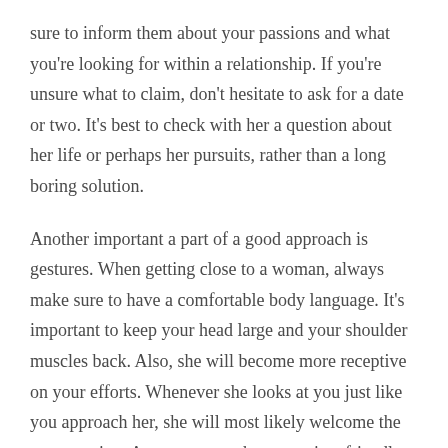sure to inform them about your passions and what you're looking for within a relationship. If you're unsure what to claim, don't hesitate to ask for a date or two. It's best to check with her a question about her life or perhaps her pursuits, rather than a long boring solution.
Another important a part of a good approach is gestures. When getting close to a woman, always make sure to have a comfortable body language. It's important to keep your head large and your shoulder muscles back. Also, she will become more receptive on your efforts. Whenever she looks at you just like you approach her, she will most likely welcome the conversation. As you approach women in a friendly mood, she could be more prone to look at you instead of turning away.
Just before asking a female out on a going out with site,